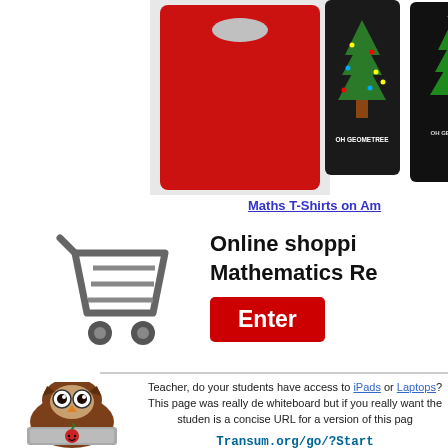[Figure (photo): Math-themed Christmas t-shirts displayed: red shirt, black shirts with Christmas tree and OH GEOMETREE text, white shirt with math graphics]
Maths T-Shirts on Am[azon]
[Figure (illustration): Shopping cart icon in grey outline style]
Online shoppi[ng]
Mathematics Re[sources]
Enter
[Figure (illustration): Cartoon owl with big eyes sitting behind a laptop computer that has an apple logo on it]
Teacher, do your students have access to iPads or Laptops? This page was really de[signed for a] whiteboard but if you really want the studen[ts to use it there] is a concise URL for a version of this pag[e:]
Transum.org/go/?Start
However it would be better to assign one [of the] activities below.